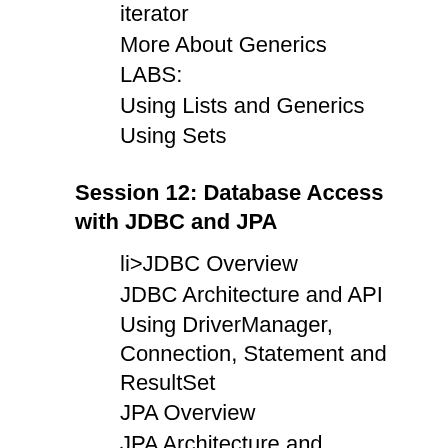iterator
More About Generics
LABS:
Using Lists and Generics
Using Sets
Session 12: Database Access with JDBC and JPA
li>JDBC Overview
JDBC Architecture and API
Using DriverManager, Connection, Statement and ResultSet
JPA Overview
JPA Architecture and Programming View
Entity Classes and Annotations
Mapping an Entity Class
EntityManagerFactory and EntityManager
Working with JPA (Find by primavry key and inserts)